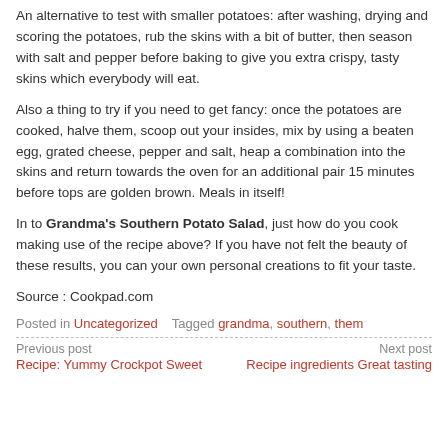An alternative to test with smaller potatoes: after washing, drying and scoring the potatoes, rub the skins with a bit of butter, then season with salt and pepper before baking to give you extra crispy, tasty skins which everybody will eat.
Also a thing to try if you need to get fancy: once the potatoes are cooked, halve them, scoop out your insides, mix by using a beaten egg, grated cheese, pepper and salt, heap a combination into the skins and return towards the oven for an additional pair 15 minutes before tops are golden brown. Meals in itself!
In to Grandma's Southern Potato Salad, just how do you cook making use of the recipe above? If you have not felt the beauty of these results, you can your own personal creations to fit your taste.
Source : Cookpad.com
Posted in Uncategorized   Tagged grandma, southern, them
Previous post: Recipe: Yummy Crockpot Sweet | Next post: Recipe ingredients Great tasting